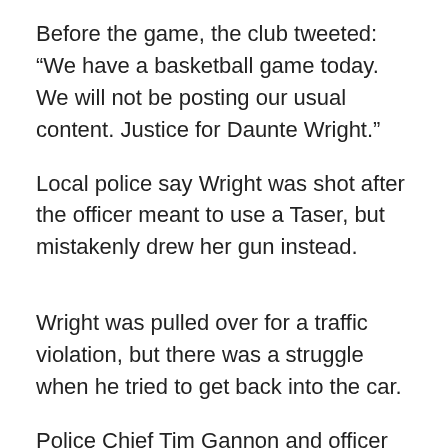Before the game, the club tweeted: “We have a basketball game today. We will not be posting our usual content. Justice for Daunte Wright.”
Local police say Wright was shot after the officer meant to use a Taser, but mistakenly drew her gun instead.
Wright was pulled over for a traffic violation, but there was a struggle when he tried to get back into the car.
Police Chief Tim Gannon and officer Kim Potter quit the Brooklyn Center force on Tuesday after the death sparked two nights of unrest.
Tensions were already high in nearby Minneapolis as the